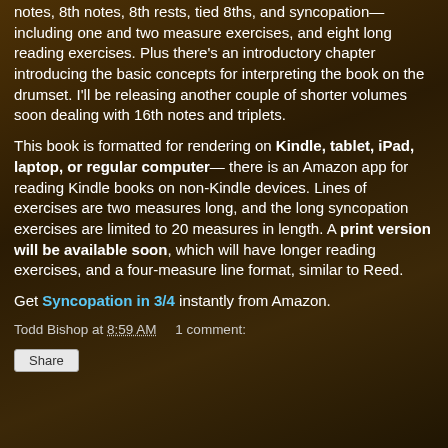notes, 8th notes, 8th rests, tied 8ths, and syncopation—including one and two measure exercises, and eight long reading exercises. Plus there's an introductory chapter introducing the basic concepts for interpreting the book on the drumset. I'll be releasing another couple of shorter volumes soon dealing with 16th notes and triplets.
This book is formatted for rendering on Kindle, tablet, iPad, laptop, or regular computer— there is an Amazon app for reading Kindle books on non-Kindle devices. Lines of exercises are two measures long, and the long syncopation exercises are limited to 20 measures in length. A print version will be available soon, which will have longer reading exercises, and a four-measure line format, similar to Reed.
Get Syncopation in 3/4 instantly from Amazon.
Todd Bishop at 8:59 AM   1 comment:
Share